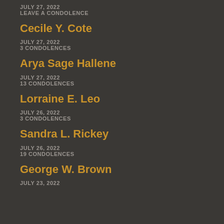JULY 27, 2022
LEAVE A CONDOLENCE
Cecile Y. Cote
JULY 27, 2022
3 CONDOLENCES
Arya Sage Hallene
JULY 27, 2022
13 CONDOLENCES
Lorraine E. Leo
JULY 26, 2022
3 CONDOLENCES
Sandra L. Rickey
JULY 26, 2022
19 CONDOLENCES
George W. Brown
JULY 23, 2022